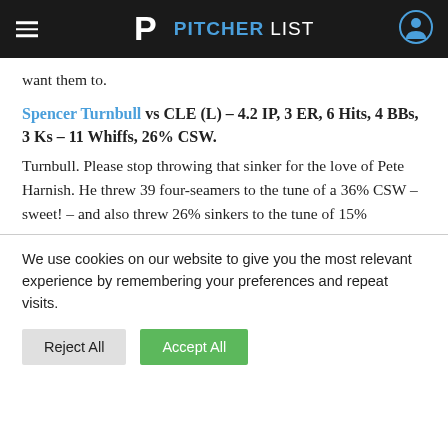PITCHERLIST
want them to.
Spencer Turnbull vs CLE (L) – 4.2 IP, 3 ER, 6 Hits, 4 BBs, 3 Ks – 11 Whiffs, 26% CSW.
Turnbull. Please stop throwing that sinker for the love of Pete Harnish. He threw 39 four-seamers to the tune of a 36% CSW – sweet! – and also threw 26% sinkers to the tune of 15%
We use cookies on our website to give you the most relevant experience by remembering your preferences and repeat visits.